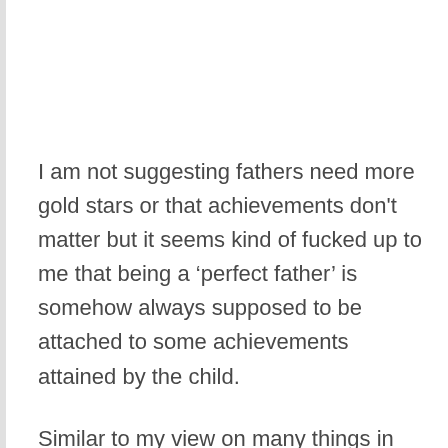I am not suggesting fathers need more gold stars or that achievements don't matter but it seems kind of fucked up to me that being a 'perfect father' is somehow always supposed to be attached to some achievements attained by the child.
Similar to my view on many things in life I believe more often than not success